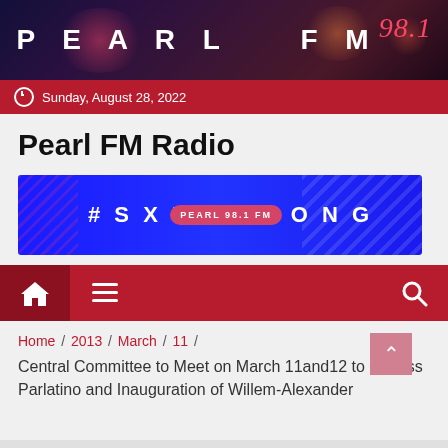PEARL FM 98.1
Sunday, August 28, 2022
Pearl FM Radio
[Figure (other): #SXMSTRONG banner advertisement for Pearl 98.1 FM radio station, blue background with diagonal stripe pattern]
Navigation bar with home, menu, and search icons
Home / 2013 / March / 11 / Central Committee to Meet on March 11and12 to discuss Parlatino and Inauguration of Willem-Alexander